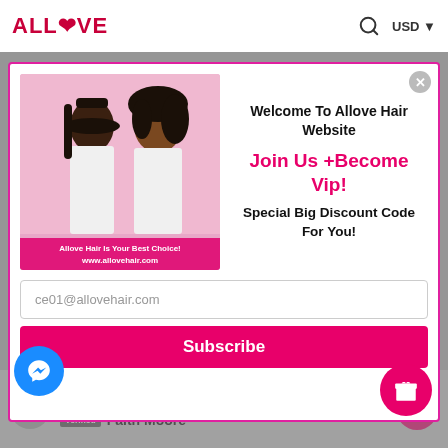ALLLOVE  USD
[Figure (screenshot): Modal popup with two women photo and Allove Hair branding]
Welcome To Allove Hair Website
Join Us +Become Vip!
Special Big Discount Code For You!
ce01@allovehair.com
Subscribe
Allove Hair Is Your Best Choice! www.allovehair.com
01/20/2020
Verified  Faith Moore